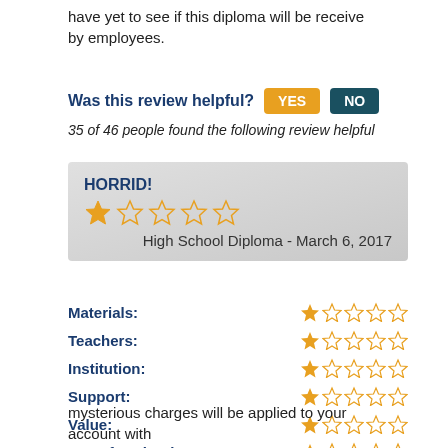have yet to see if this diploma will be receive by employees.
Was this review helpful?
35 of 46 people found the following review helpful
HORRID!
High School Diploma - March 6, 2017
| Category | Rating |
| --- | --- |
| Materials: | 1/5 |
| Teachers: | 1/5 |
| Institution: | 1/5 |
| Support: | 1/5 |
| Value: | 1/5 |
| Use of Technology: | 1/5 |
mysterious charges will be applied to your account with